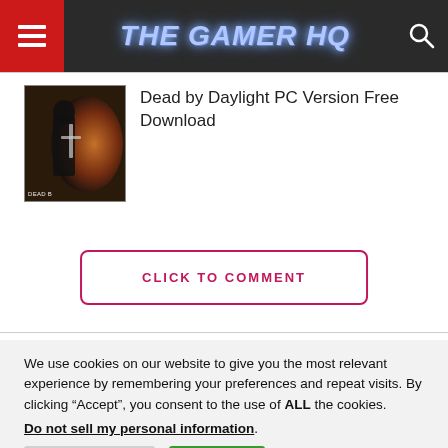THE GAMER HQ
[Figure (photo): Dead by Daylight game thumbnail showing a dark hooded figure with fire in background]
Dead by Daylight PC Version Free Download
CLICK TO COMMENT
We use cookies on our website to give you the most relevant experience by remembering your preferences and repeat visits. By clicking “Accept”, you consent to the use of ALL the cookies.
Do not sell my personal information.
Cookie Settings  Accept